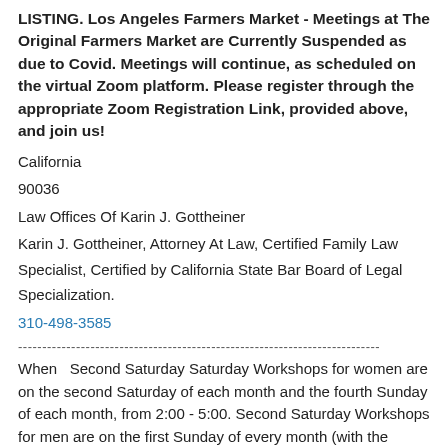LISTING. Los Angeles Farmers Market - Meetings at The Original Farmers Market are Currently Suspended as due to Covid. Meetings will continue, as scheduled on the virtual Zoom platform. Please register through the appropriate Zoom Registration Link, provided above, and join us!
California
90036
Law Offices Of Karin J. Gottheiner
Karin J. Gottheiner, Attorney At Law, Certified Family Law Specialist, Certified by California State Bar Board of Legal Specialization.
310-498-3585
When   Second Saturday Saturday Workshops for women are on the second Saturday of each month and the fourth Sunday of each month, from 2:00 - 5:00. Second Saturday Workshops for men are on the first Sunday of every month (with the exception of September moved to 9/11.).
Torrance Second Saturday